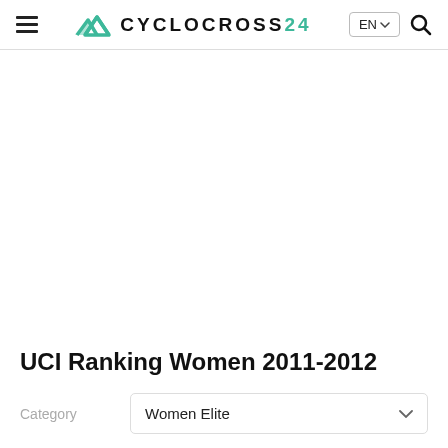CYCLOCROSS24 — EN
UCI Ranking Women 2011-2012
Category: Women Elite